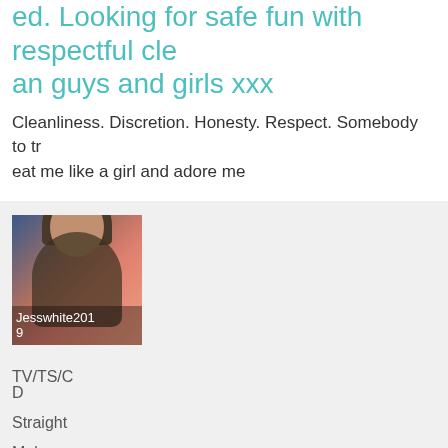ed. Looking for safe fun with respectful clean guys and girls xxx
Cleanliness. Discretion. Honesty. Respect. Somebody to treat me like a girl and adore me
[Figure (photo): Profile photo of user Jesswhite2019, showing a person with long brown hair against a pink/orange background]
TV/TS/CD
Straight
Male
Age: 29
UK, Engl